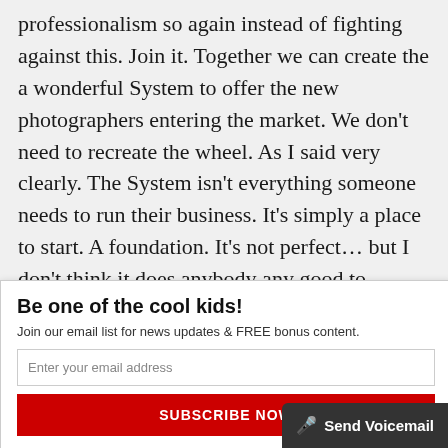professionalism so again instead of fighting against this. Join it. Together we can create the a wonderful System to offer the new photographers entering the market. We don't need to recreate the wheel. As I said very clearly. The System isn't everything someone needs to run their business. It's simply a place to start. A foundation. It's not perfect… but I don't think it does anybody any good to encourage people to fight against it. Why not work together in unity
Be one of the cool kids!
Join our email list for news updates & FREE bonus content.
Enter your email address
SUBSCRIBE NOW
Send Voicemail